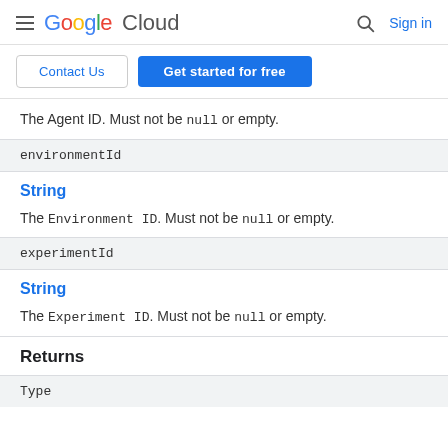Google Cloud  Sign in
Contact Us  Get started for free
The Agent ID. Must not be null or empty.
environmentId
String
The Environment ID. Must not be null or empty.
experimentId
String
The Experiment ID. Must not be null or empty.
Returns
Type